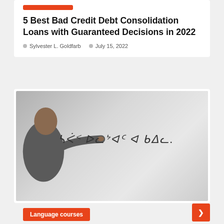5 Best Bad Credit Debt Consolidation Loans with Guaranteed Decisions in 2022
Sylvester L. Goldfarb   July 15, 2022
[Figure (photo): A man pointing at a whiteboard with text written in an unfamiliar script/language]
Language courses